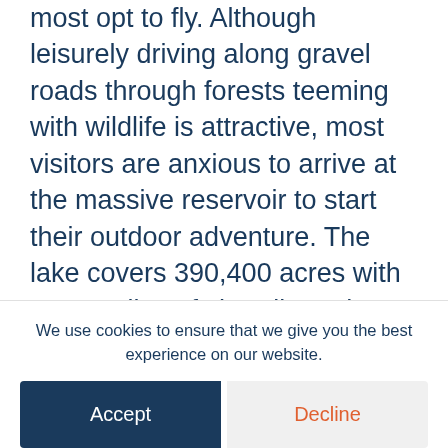most opt to fly. Although leisurely driving along gravel roads through forests teeming with wildlife is attractive, most visitors are anxious to arrive at the massive reservoir to start their outdoor adventure. The lake covers 390,400 acres with 3,500 miles of shoreline. The area is called the Mauricie Region, which is criss-crossed by unmarked forest roads and hundreds of lakes and streams. Resorts and outfitters in the area smile when they suggest that those arriving by car not attempt to follow their GPS along the wilderness gravel roads.
We use cookies to ensure that we give you the best experience on our website.
Accept
Decline